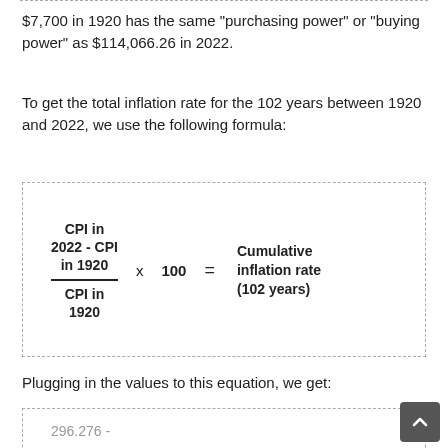$7,700 in 1920 has the same "purchasing power" or "buying power" as $114,066.26 in 2022.
To get the total inflation rate for the 102 years between 1920 and 2022, we use the following formula:
Plugging in the values to this equation, we get: